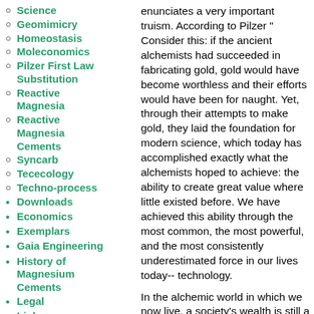Science (sub-level)
Geomimicry
Homeostasis
Moleconomics
Pilzer First Law Substitution
Reactive Magnesia
Reactive Magnesia Cements
Syncarb
Tececology
Techno-process
Downloads
Economics
Exemplars
Gaia Engineering
History of Magnesium Cements
Legal
Links
News
Newsletters
Politics
enunciates a very important truism. According to Pilzer "Consider this: if the ancient alchemists had succeeded in fabricating gold, gold would have become worthless and their efforts would have been for naught. Yet, through their attempts to make gold, they laid the foundation for modern science, which today has accomplished exactly what the alchemists hoped to achieve: the ability to create great value where little existed before. We have achieved this ability through the most common, the most powerful, and the most consistently underestimated force in our lives today--technology.
In the alchemic world in which we now live, a society's wealth is still a function of its physical resources, as traditional